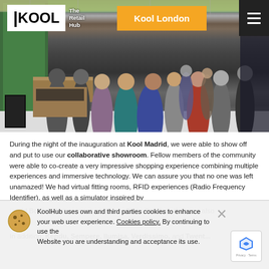[Figure (photo): Interior photo of Kool Madrid inauguration event with a crowd of people socializing in a modern retail space. Green plant wall visible on left, wood reception desk, white walls, people mingling throughout the space.]
Kool — The Retail Hub | Kool London
During the night of the inauguration at Kool Madrid, we were able to show off and put to use our collaborative showroom. Fellow members of the community were able to co-create a very impressive shopping experience combining multiple experiences and immersive technology. We can assure you that no one was left unamazed! We had virtual fitting rooms, RFID experiences (Radio Frequency Identifier), as well as a simulator inspired by David Bowie's first conceptual album, Ziggy Stardust, that was also artist's first alter...
KoolHub uses own and third parties cookies to enhance your web user experience. Cookies policy. By continuing to use the Website you are understanding and acceptance its use. In addition, Kendu, Sempere, Ilumisa, Verdissimo, and Twent.... all collaborated in the creation of a new brand experience utilizing...